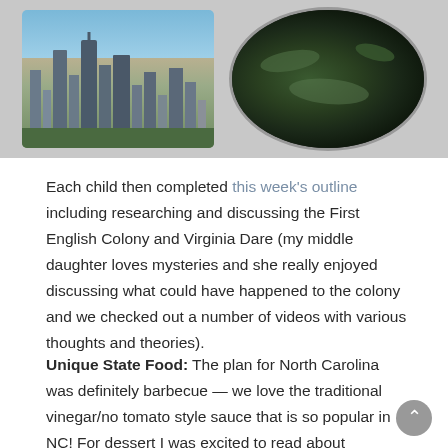[Figure (photo): Two photos side by side on a grey background: left is a city skyline (Charlotte, NC) with blue sky, right is an oval-shaped aerial or nature photo with dark tones.]
Each child then completed this week's outline including researching and discussing the First English Colony and Virginia Dare (my middle daughter loves mysteries and she really enjoyed discussing what could have happened to the colony and we checked out a number of videos with various thoughts and theories).
Unique State Food: The plan for North Carolina was definitely barbecue — we love the traditional vinegar/no tomato style sauce that is so popular in NC! For dessert I was excited to read about Morovian Sugar Cake on the Sweet State of Mine Blog and as it turns out Dewey's